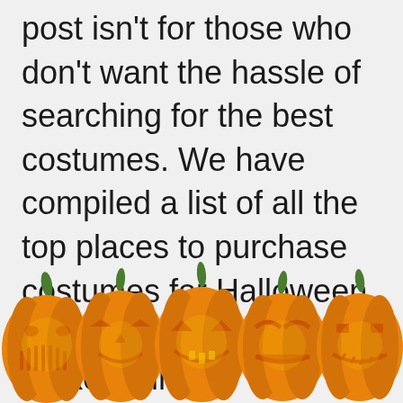post isn't for those who don't want the hassle of searching for the best costumes. We have compiled a list of all the top places to purchase costumes for Halloween and other accessories to make it simpler than ever. The best thing is that they're just clicks away!
[Figure (illustration): A row of five carved Halloween jack-o'-lantern pumpkins, each with different face designs, orange bodies and green stems, arranged side by side at the bottom of the page. Partially cut off at the bottom.]